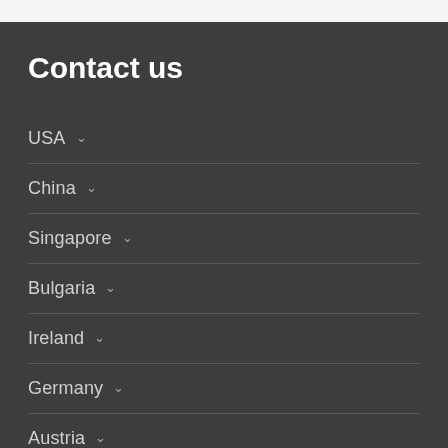Contact us
USA
China
Singapore
Bulgaria
Ireland
Germany
Austria